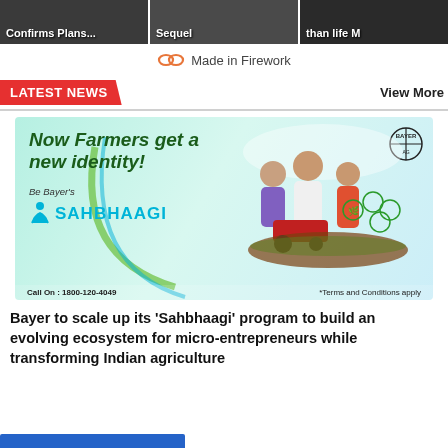[Figure (screenshot): Top strip with three partially visible news thumbnails: 'Confirms Plans...', 'Sequel', 'than life M']
Made in Firework
LATEST NEWS
View More
[Figure (photo): Bayer Sahbhaagi advertisement banner: 'Now Farmers get a new identity! Be Bayer's SAHBHAAGI. Call On: 1800-120-4049. *Terms and Conditions apply'. Shows farmers and agricultural icons.]
Bayer to scale up its 'Sahbhaagi' program to build an evolving ecosystem for micro-entrepreneurs while transforming Indian agriculture